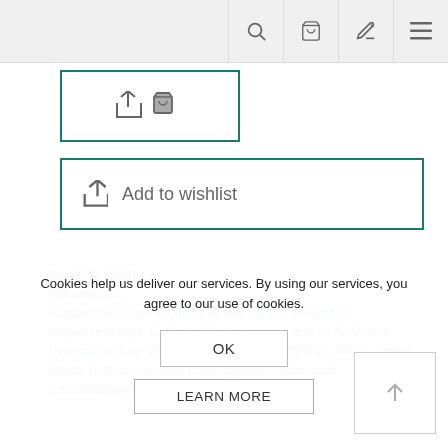Navigation bar with search, cart, edit, and menu icons
[Figure (screenshot): Add to cart button with share and cart icons, teal border]
[Figure (screenshot): Add to wishlist button with share icon and teal border]
Book ID: (663) Abramov,I.I. Handbook of the Lichens of the USSR. Volume 4: Kopaczevskaja, E. G., M. F. Makarevicz and A. N. Oxner, Verrucariaceae- Pilocarpaceae. 1977. 270 figs. 343 p. gr8vo. Cloth. In Russian with Latin species index and nomenclature.
Cookies help us deliver our services. By using our services, you agree to our use of cookies.
OK
LEARN MORE